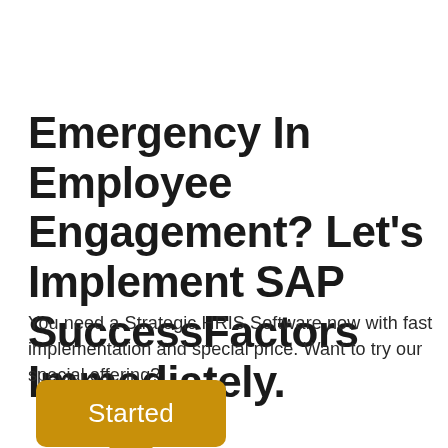Emergency In Employee Engagement? Let's Implement SAP SuccessFactors Immediately.
You need a Strategic HRIS Software now with fast implementation and special price. Want to try our special offering?
[Figure (other): Orange/gold call-to-action button with rounded corners and a downward-pointing triangular notch at the bottom, labeled 'Started']